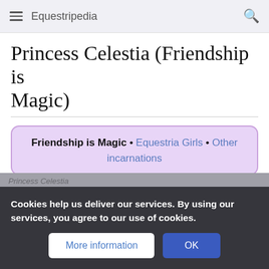Equestripedia
Princess Celestia (Friendship is Magic)
Friendship is Magic • Equestria Girls • Other incarnations
Princess Celestia is the former Princess of Equestria who had the longest known reign of all Equestrian monarchs.
Cookies help us deliver our services. By using our services, you agree to our use of cookies.